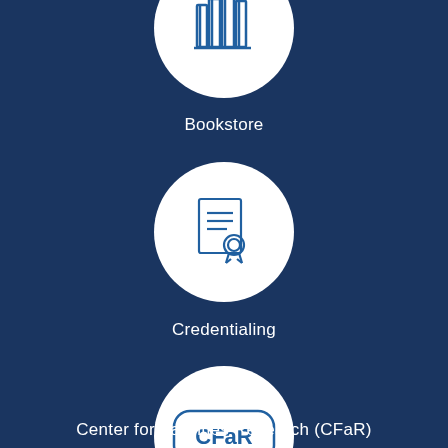[Figure (illustration): White circle with a bookstore/books icon (outline of stacked books) in blue, partially visible at top of page]
Bookstore
[Figure (illustration): White circle with a credentialing/certificate icon (document with award ribbon) in blue outline style]
Credentialing
[Figure (logo): White circle with CFaR logo - rounded rectangle border containing 'CFaR' text in blue]
Center for Facilities Research (CFaR)